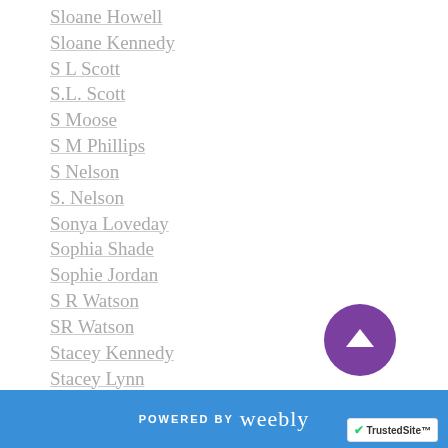Sloane Howell
Sloane Kennedy
S L Scott
S.L. Scott
S Moose
S M Phillips
S Nelson
S. Nelson
Sonya Loveday
Sophia Shade
Sophie Jordan
S R Watson
SR Watson
Stacey Kennedy
Stacey Lynn
Stacey Mosteller
Staci Hart
POWERED BY weebly | TrustedSite